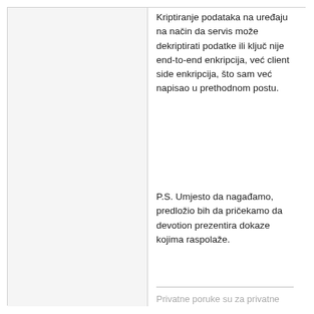Kriptiranje podataka na uređaju na način da servis može dekriptirati podatke ili ključ nije end-to-end enkripcija, već client side enkripcija, što sam već napisao u prethodnom postu.
P.S. Umjesto da nagađamo, predložio bih da pričekamo da devotion prezentira dokaze kojima raspolaže.
Privatne poruke su za privatne razgovore. Ne odgovaram na općenita pitanja vezana uz neku temu.